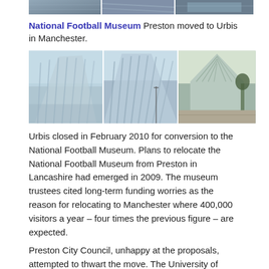[Figure (photo): Three partial building/architecture photos at very top, cropped]
National Football Museum Preston moved to Urbis in Manchester.
[Figure (photo): Three photos of the Urbis building in Manchester — a modern glass angular building — showing different angles and exterior views]
Urbis closed in February 2010 for conversion to the National Football Museum. Plans to relocate the National Football Museum from Preston in Lancashire had emerged in 2009. The museum trustees cited long-term funding worries as the reason for relocating to Manchester where 400,000 visitors a year – four times the previous figure – are expected.
Preston City Council, unhappy at the proposals, attempted to thwart the move. The University of Central Lancashire, Lancashire County Council and Preston City Council offered the museum £400,000 per year but were outbid